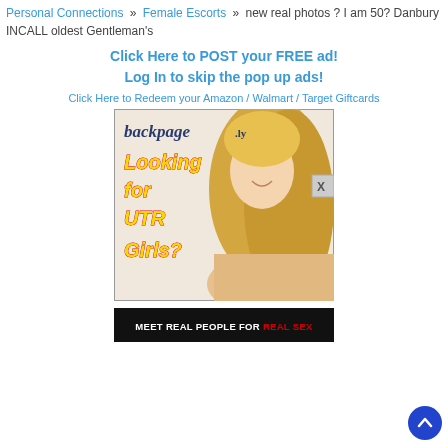Personal Connections » Female Escorts » new real photos ? I am 50? Danbury INCALL oldest Gentleman's
Click Here to POST your FREE ad!
Log In to skip the pop up ads!
Click Here to Redeem your Amazon / Walmart / Target Giftcards
[Figure (advertisement): backpage.ly advertisement banner with 'Looking for UTR Girls?' text and blonde woman photo]
[Figure (advertisement): Black banner reading MEET REAL PEOPLE FOR REAL SEX]